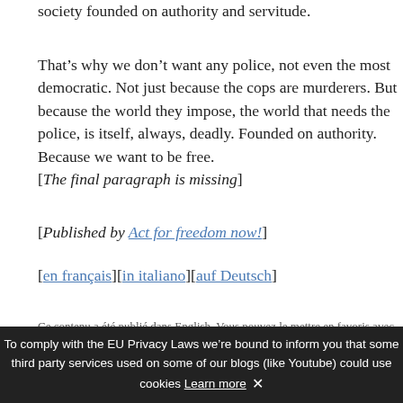society founded on authority and servitude.
That’s why we don’t want any police, not even the most democratic. Not just because the cops are murderers. But because the world they impose, the world that needs the police, is itself, always, deadly. Founded on authority. Because we want to be free.
[The final paragraph is missing]
[Published by Act for freedom now!]
[en français][in italiano][auf Deutsch]
Ce contenu a été publié dans English. Vous pouvez le mettre en favoris avec
To comply with the EU Privacy Laws we’re bound to inform you that some third party services used on some of our blogs (like Youtube) could use cookies Learn more